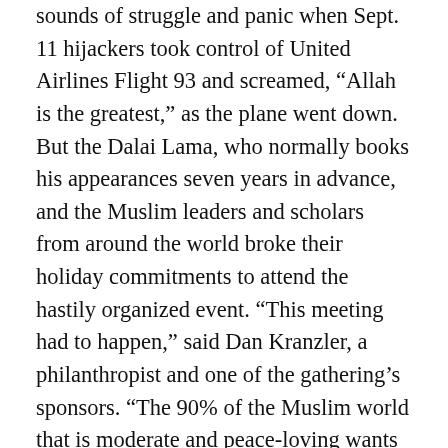sounds of struggle and panic when Sept. 11 hijackers took control of United Airlines Flight 93 and screamed, “Allah is the greatest,” as the plane went down. But the Dalai Lama, who normally books his appearances seven years in advance, and the Muslim leaders and scholars from around the world broke their holiday commitments to attend the hastily organized event. “This meeting had to happen,” said Dan Kranzler, a philanthropist and one of the gathering’s sponsors. “The 90% of the Muslim world that is moderate and peace-loving wants to overcome the radical ideologies of the rest,” said Kranzler, who is Jewish but refers to himself as a “universalist.” “If there is anyone in the world who can cheat the odds and make that happen it’s the Dalai Lama.” Organizers